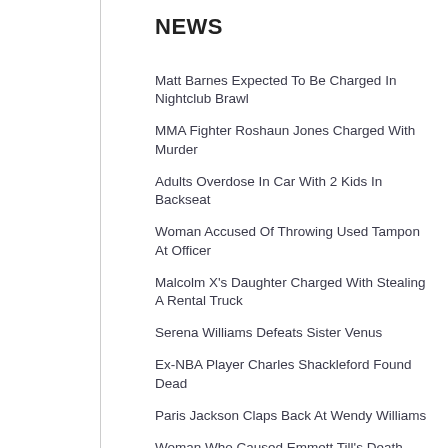NEWS
Matt Barnes Expected To Be Charged In Nightclub Brawl
MMA Fighter Roshaun Jones Charged With Murder
Adults Overdose In Car With 2 Kids In Backseat
Woman Accused Of Throwing Used Tampon At Officer
Malcolm X's Daughter Charged With Stealing A Rental Truck
Serena Williams Defeats Sister Venus
Ex-NBA Player Charles Shackleford Found Dead
Paris Jackson Claps Back At Wendy Williams
Woman Who Caused Emmett Till's Death Admits To L...